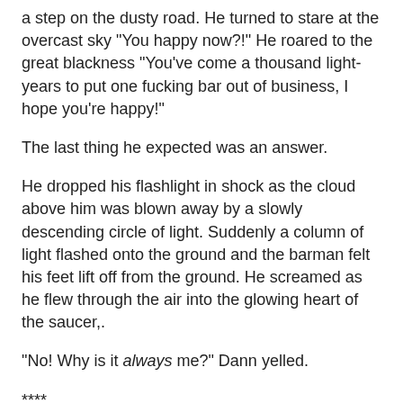a step on the dusty road. He turned to stare at the overcast sky "You happy now?!" He roared to the great blackness "You've come a thousand light-years to put one fucking bar out of business, I hope you're happy!"
The last thing he expected was an answer.
He dropped his flashlight in shock as the cloud above him was blown away by a slowly descending circle of light. Suddenly a column of light flashed onto the ground and the barman felt his feet lift off from the ground. He screamed as he flew through the air into the glowing heart of the saucer,.
"No! Why is it always me?" Dann yelled.
****
Dann has been abducted by Alien Roger's saucer.
it is now day-time until 1800 GMT Tomorrow.
All surviving townsfolk have to vote for who they want to